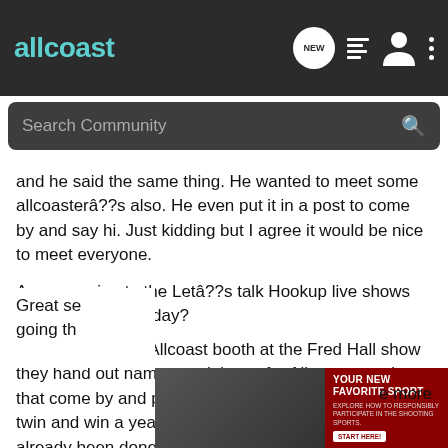allcoast
Search Community
and he said the same thing. He wanted to meet some allcoasterâ??s also. He even put it in a post to come by and say hi. Just kidding but I agree it would be nice to meet everyone.
Anyone going to the Letâ??s talk Hookup live shows Saturday and Sunday?
How about at the Allcoast booth at the Fred Hall show they hand out name special tags for Allcoast members that come by and pick them up. How about find you twin and win a years membership. Oh sorry thatâ??s already been done.
Great se... about going th... e more
[Figure (screenshot): Advertisement banner: YOUR NEW FAVORITE SPORT - EXPLORE HOW TO RESPONSIBLY PARTICIPATE IN THE SHOOTING SPORTS. START HERE!]